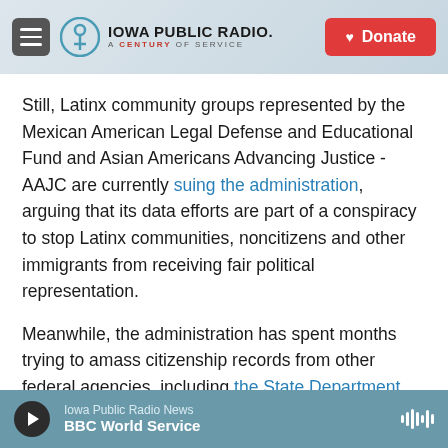[Figure (logo): Iowa Public Radio logo with hamburger menu and Donate button in header]
Still, Latinx community groups represented by the Mexican American Legal Defense and Educational Fund and Asian Americans Advancing Justice - AAJC are currently suing the administration, arguing that its data efforts are part of a conspiracy to stop Latinx communities, noncitizens and other immigrants from receiving fair political representation.
Meanwhile, the administration has spent months trying to amass citizenship records from other federal agencies, including the State Department
Iowa Public Radio News
BBC World Service